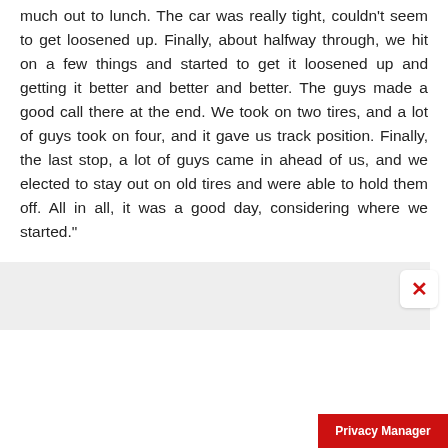much out to lunch. The car was really tight, couldn't seem to get loosened up. Finally, about halfway through, we hit on a few things and started to get it loosened up and getting it better and better and better. The guys made a good call there at the end. We took on two tires, and a lot of guys took on four, and it gave us track position. Finally, the last stop, a lot of guys came in ahead of us, and we elected to stay out on old tires and were able to hold them off. All in all, it was a good day, considering where we started."
[Figure (screenshot): Gray bar UI element with a white close button (red X) on the right side]
[Figure (screenshot): Red Privacy Manager button at bottom right corner]